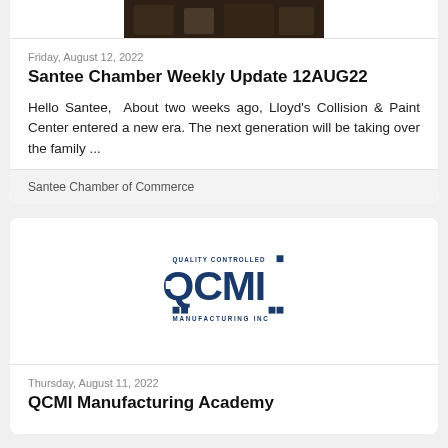[Figure (photo): Partial photo of people at the top of card 1]
Friday, August 12, 2022
Santee Chamber Weekly Update 12AUG22
Hello Santee,  About two weeks ago, Lloyd's Collision & Paint Center entered a new era. The next generation will be taking over the family ...
Santee Chamber of Commerce
[Figure (logo): QCMI Quality Controlled Manufacturing Inc logo in dark blue]
Thursday, August 11, 2022
QCMI Manufacturing Academy